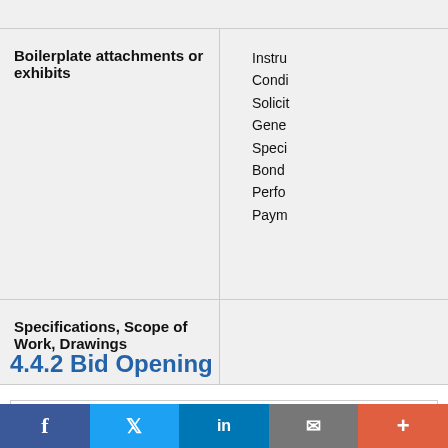|  |  |
| --- | --- |
| Boilerplate attachments or exhibits | Instr… Condi… Solicit… / Gene… / Speci… / Bond… Perfo… Paym… |
| Specifications, Scope of Work, Drawings |  |
4.4.2 Bid Opening
| Requirement |
| --- |